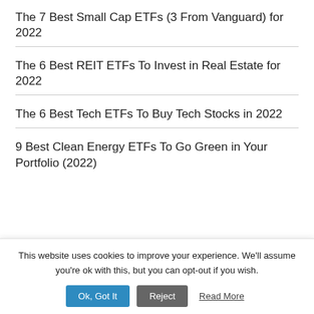The 7 Best Small Cap ETFs (3 From Vanguard) for 2022
The 6 Best REIT ETFs To Invest in Real Estate for 2022
The 6 Best Tech ETFs To Buy Tech Stocks in 2022
9 Best Clean Energy ETFs To Go Green in Your Portfolio (2022)
This website uses cookies to improve your experience. We'll assume you're ok with this, but you can opt-out if you wish.